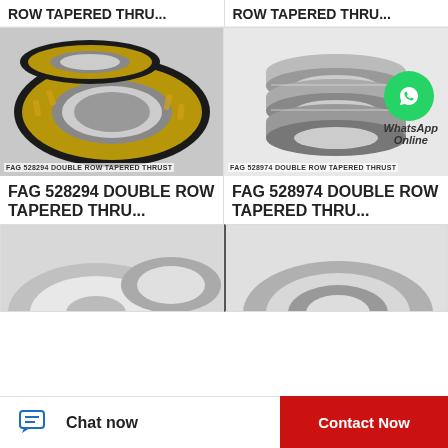ROW TAPERED THRU...
ROW TAPERED THRU...
[Figure (photo): FAG 528294 double row tapered thrust bearing, two ring components shown on white background. Label: FAG 528294 DOUBLE ROW TAPERED THRUST]
[Figure (photo): FAG 528974 double row tapered thrust bearing, stacked cylindrical metal rings shown. Label: FAG 528974 DOUBLE ROW TAPERED THRUST. WhatsApp Online overlay visible.]
FAG 528294 DOUBLE ROW TAPERED THRU...
FAG 528974 DOUBLE ROW TAPERED THRU...
[Figure (photo): Partial view of a bearing component, disc-shaped, light grey, on white background.]
[Figure (photo): Partial view of a cylindrical bearing ring component, metallic grey.]
Chat now
Contact Now